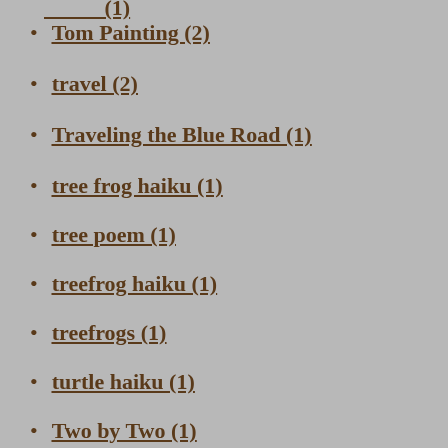Tom Painting (2)
travel (2)
Traveling the Blue Road (1)
tree frog haiku (1)
tree poem (1)
treefrog haiku (1)
treefrogs (1)
turtle haiku (1)
Two by Two (1)
umbrella (1)
Valentine (1)
valentine poem (2)
valentine verse (1)
Valentine's Day (1)
valentines (1)